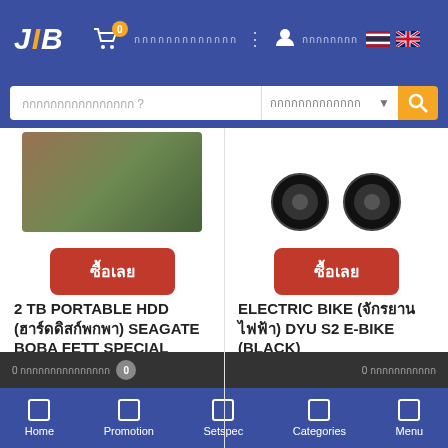[Figure (screenshot): JIB online store header with logo, shopping cart (0), Thai text navigation, user icon, Thai and UK flags]
[Figure (screenshot): Search bar with Thai placeholder text and orange search button]
[Figure (photo): 2 TB Portable HDD product image - dark colored box]
[Figure (photo): Electric Bike product image - two black wheels visible]
ซื้อเลย
ซื้อเลย
2 TB PORTABLE HDD (ฮาร์ดดิสก์พกพา) SEAGATE BOBA FETT SPECIAL
ELECTRIC BIKE (จักรยานไฟฟ้า) DYU S2 E-BIKE (BLACK)
• 2T... Gen 1 • Micro-B Connector • Mi... 3-A Cable
• ล้อยางลม 10" • สายชาร์จเล็ก ต่อไฟบ้านได้ • ความเร็วสูงสุด 25 กม./ชม. • บิดและปั่น ด้วยระบบ Pedal Assist • กันน้ำระดับ IP 54 • รองรับน้ำหนัก
โปรโมชั่นนี้เฉพาะสั่งซื้อออนไลน์
ราคา
โปรโมชั่นนี้เฉพาะสั่งซื้อออนไลน์
ราคา
0 รายการในตะกร้า 0  0 รายการโปรด
Home  Promotion  Setspec  Categories  Menu